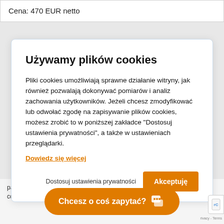Cena: 470 EUR netto
Używamy plików cookies
Pliki cookies umożliwiają sprawne działanie witryny, jak również pozwalają dokonywać pomiarów i analiz zachowania użytkowników. Jeżeli chcesz zmodyfikować lub odwołać zgodę na zapisywanie plików cookies, możesz zrobić to w poniższej zakładce "Dostosuj ustawienia prywatności", a także w ustawieniach przeglądarki.
Dowiedz się więcej
Dostosuj ustawienia prywatności
Akceptuję
participants official proo...
confirmation of these exa...
Chcesz o coś zapytać?